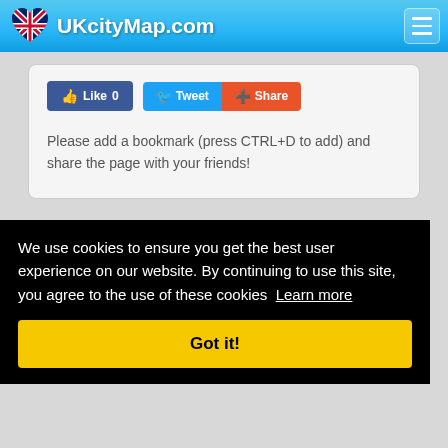UKcityMap.com
[Figure (screenshot): Social media buttons: Facebook Like 0, Twitter Tweet, and Share buttons]
Please add a bookmark (press CTRL+D to add) and share the page with your friends!
We use cookies to ensure you get the best user experience on our website. By continuing to use this site, you agree to the use of these cookies  Learn more
Got it!